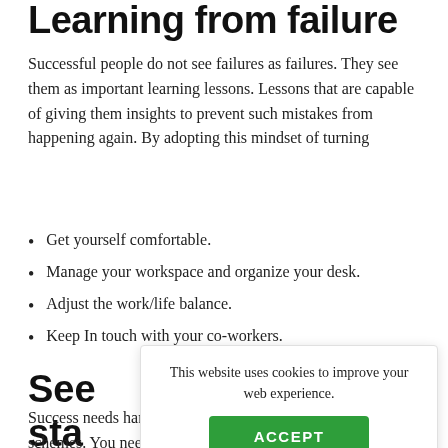Learning from failure
Successful people do not see failures as failures. They see them as important learning lessons. Lessons that are capable of giving them insights to prevent such mistakes from happening again. By adopting this mindset of turning
Get yourself comfortable.
Manage your workspace and organize your desk.
Adjust the work/life balance.
Keep In touch with your co-workers.
See sta
This website uses cookies to improve your web experience.
Success needs hard work. Don't listen to these 'get rich quick' schemes. You need to build your character and work hard on